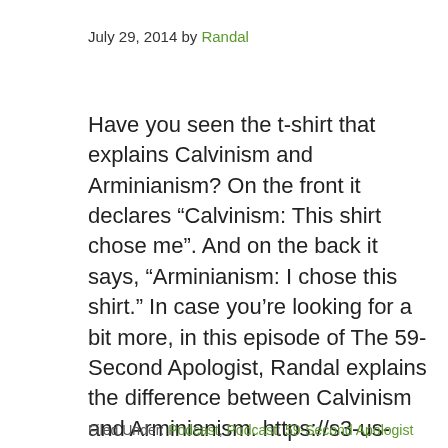July 29, 2014 by Randal
Have you seen the t-shirt that explains Calvinism and Arminianism? On the front it declares “Calvinism: This shirt chose me”. And on the back it says, “Arminianism: I chose this shirt.” In case you’re looking for a bit more, in this episode of The 59-Second Apologist, Randal explains the difference between Calvinism and Arminianism. https://s3-us-west-2.amazonaws.com/tentativeapologist/59+Second+A4+Calvinism+and+Arminianism.mp3Podcast: Play in new [...]
Filed Under: Podcast, Podcast: 59-Second Apologist